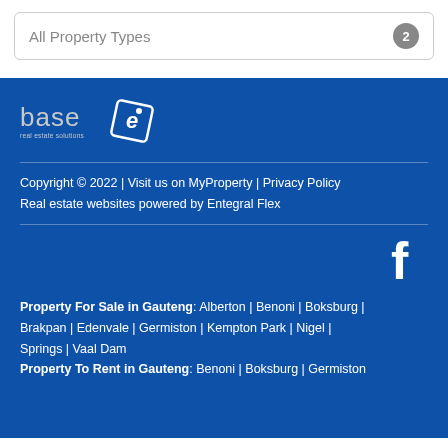All Property Types  2
[Figure (logo): BASE real estate logo and Entegral 'e' logo on dark blue footer background]
Copyright © 2022 | Visit us on MyProperty | Privacy Policy
Real estate websites powered by Entegral Flex
[Figure (logo): Facebook 'f' icon in white on dark blue background]
Property For Sale in Gauteng: Alberton | Benoni | Boksburg | Brakpan | Edenvale | Germiston | Kempton Park | Nigel | Springs | Vaal Dam
Property To Rent in Gauteng: Benoni | Boksburg | Germiston